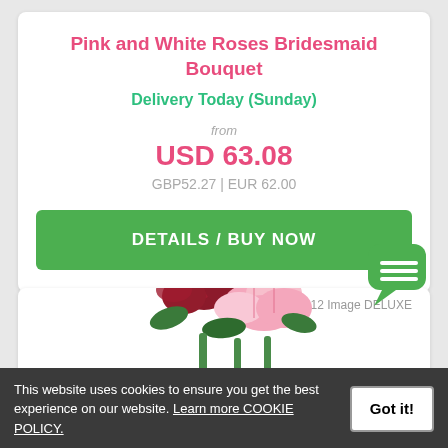Pink and White Roses Bridesmaid Bouquet
Delivery Today (Sunday)
from
USD 63.08
GBP52.27 | EUR 62.00
DETAILS / BUY NOW
[Figure (photo): Flower bouquet with pink lilies and dark red roses, partially visible]
BQM112 Image DELUXE
[Figure (illustration): Green chat bubble icon with three horizontal lines]
This website uses cookies to ensure you get the best experience on our website. Learn more COOKIE POLICY.
Got it!